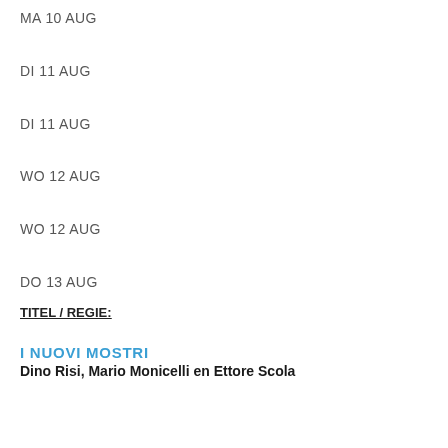MA 10 AUG
DI 11 AUG
DI 11 AUG
WO 12 AUG
WO 12 AUG
DO 13 AUG
TITEL / REGIE:
I NUOVI MOSTRI
Dino Risi, Mario Monicelli en Ettore Scola